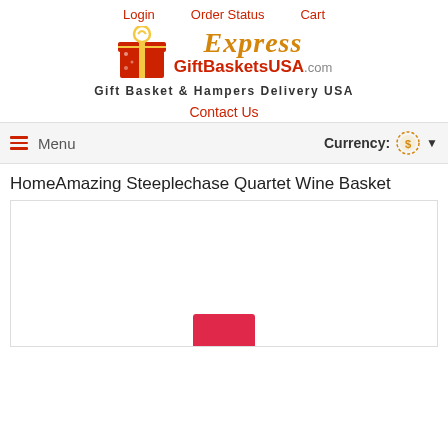Login  Order Status  Cart
[Figure (logo): ExpressGiftBasketsUSA.com logo with red gift box icon, orange cursive Express text, red GiftBasketsUSA text]
Gift Basket & Hampers Delivery USA
Contact Us
Menu  Currency:
HomeAmazing Steeplechase Quartet Wine Basket
[Figure (photo): Product image area showing partial red gift basket product at the bottom, mostly white/blank product display area]